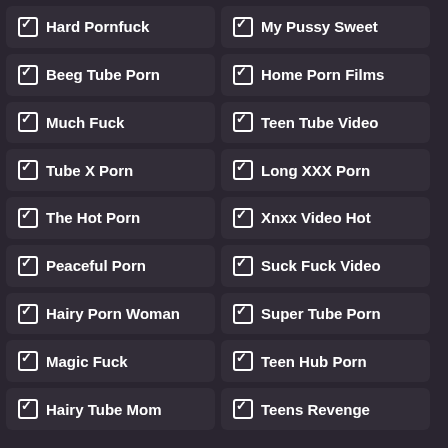☑ Hard Pornfuck
☑ My Pussy Sweet
☑ Beeg Tube Porn
☑ Home Porn Films
☑ Much Fuck
☑ Teen Tube Video
☑ Tube X Porn
☑ Long XXX Porn
☑ The Hot Porn
☑ Xnxx Video Hot
☑ Peaceful Porn
☑ Suck Fuck Video
☑ Hairy Porn Woman
☑ Super Tube Porn
☑ Magic Fuck
☑ Teen Hub Porn
☑ Hairy Tube Mom
☑ Teens Revenge